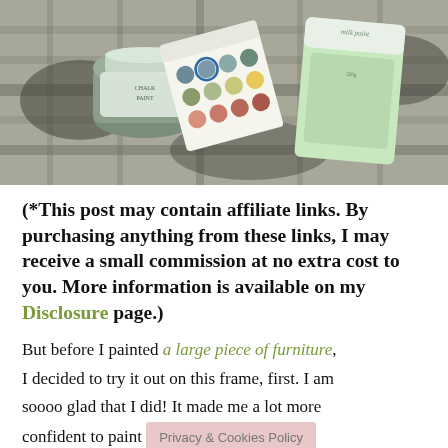[Figure (photo): Photo of paint products on a textured rug: a jar of chalk paint, a color swatch card with circular color samples, and a green milk paint packet]
(*This post may contain affiliate links. By purchasing anything from these links, I may receive a small commission at no extra cost to you. More information is available on my Disclosure page.)
But before I painted a large piece of furniture, I decided to try it out on this frame, first. I am soooo glad that I did! It made me a lot more confident to paint [Privacy & Cookies Policy]